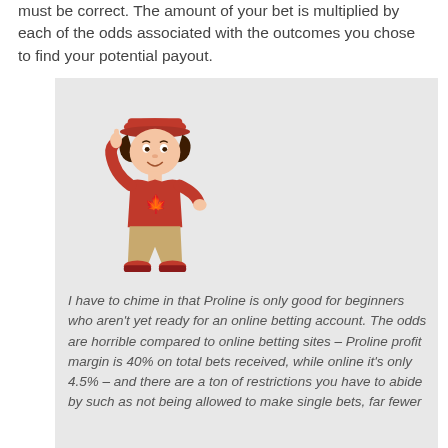must be correct. The amount of your bet is multiplied by each of the odds associated with the outcomes you chose to find your potential payout.
[Figure (illustration): Cartoon mascot character wearing a red Canada hockey jersey with maple leaf, khaki pants, and red shoes, pointing upward with one finger. The figure is stylized as a bitmoji/avatar-style illustration.]
I have to chime in that Proline is only good for beginners who aren't yet ready for an online betting account. The odds are horrible compared to online betting sites – Proline profit margin is 40% on total bets received, while online it's only 4.5% – and there are a ton of restrictions you have to abide by such as not being allowed to make single bets, far fewer